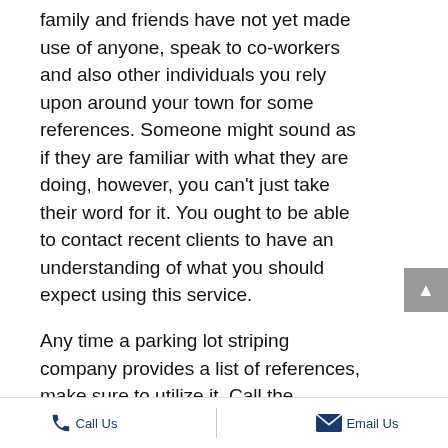family and friends have not yet made use of anyone, speak to co-workers and also other individuals you rely upon around your town for some references. Someone might sound as if they are familiar with what they are doing, however, you can't just take their word for it. You ought to be able to contact recent clients to have an understanding of what you should expect using this service.

Any time a parking lot striping company provides a list of references, make sure to utilize it. Call the individuals on the list, and inquire about the grade of the work, how carefully the parking lot striping contractor was to their initial quotation, and whether the work was finished with regards to the assured timeline. Before making a choice your parking lot lines contractor in Houston TX, you want to have idea of what you need. It can be challenging for the parking lot striping contractor to give a cost appraisal on the